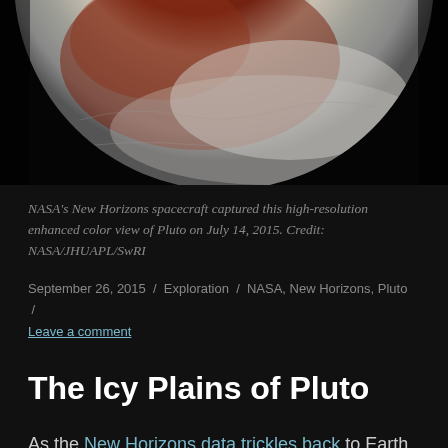[Figure (photo): NASA's New Horizons enhanced color view of Pluto showing reddish-brown and grey icy surface against black space background, top portion of the dwarf planet visible]
NASA's New Horizons spacecraft captured this high-resolution enhanced color view of Pluto on July 14, 2015. Credit: NASA/JHUAPL/SwRI
September 26, 2015 / Exploration / NASA, New Horizons, Pluto / Leave a comment
The Icy Plains of Pluto
As the New Horizons data trickles back to Earth we are being treated to ever better images of this distant dwarf planet. Soaring mountains, glaciers of nitrogen